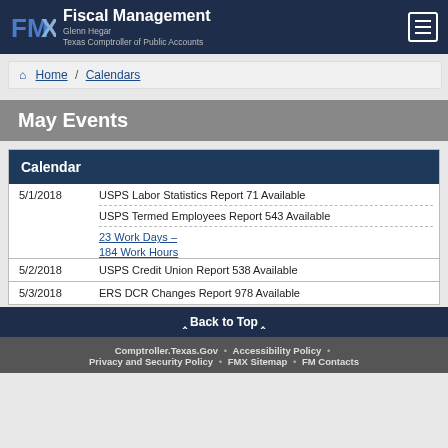Fiscal Management — Glenn Hegar — Texas Comptroller of Public Accounts
Home / Calendars
May Events
| Calendar |
| --- |
| 5/1/2018 | USPS Labor Statistics Report 71 Available |
| 5/1/2018 | USPS Termed Employees Report 543 Available |
| 5/1/2018 | 23 Work Days – 
184 Work Hours |
| 5/2/2018 | USPS Credit Union Report 538 Available |
| 5/3/2018 | ERS DCR Changes Report 978 Available |
Back to Top
Comptroller.Texas.Gov • Accessibility Policy • Privacy and Security Policy • FMX Sitemap • FM Contacts